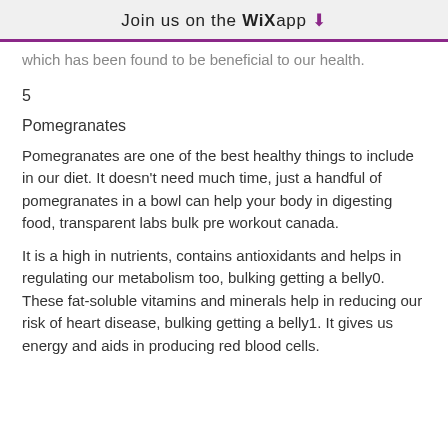Join us on the WiX app ↓
which has been found to be beneficial to our health.
5
Pomegranates
Pomegranates are one of the best healthy things to include in our diet. It doesn't need much time, just a handful of pomegranates in a bowl can help your body in digesting food, transparent labs bulk pre workout canada.
It is a high in nutrients, contains antioxidants and helps in regulating our metabolism too, bulking getting a belly0. These fat-soluble vitamins and minerals help in reducing our risk of heart disease, bulking getting a belly1. It gives us energy and aids in producing red blood cells.